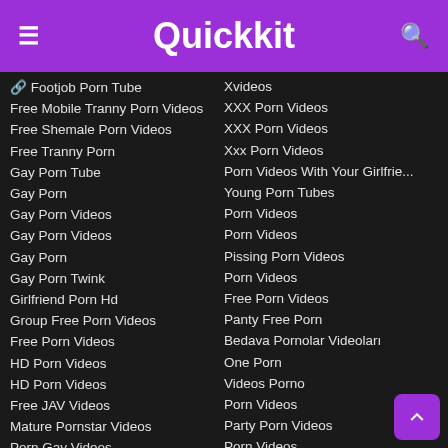Quickkit
🔗 Footjob Porn Tube
Free Mobile Tranny Porn Videos
Free Shemale Porn Videos
Free Tranny Porn
Gay Porn Tube
Gay Porn
Gay Porn Videos
Gay Porn Videos
Gay Porn
Gay Porn Twink
Girlfriend Porn Hd
Group Free Porn Videos
Free Porn Videos
HD Porn Videos
HD Porn Videos
Free JAV Videos
Mature Pornstar Videos
Porn Gay Videos
Free Porn Videos
Free Porn Videos
Xvideos
XXX Porn Videos
XXX Porn Videos
Xxx Porn Videos
Porn Videos With Your Girlfrie...
Young Porn Tubes
Porn Videos
Porn Videos
Pissing Porn Videos
Porn Videos
Free Porn Videos
Panty Free Porn
Bedava Pornolar Videoları
One Porn
Videos Porno
Porn Videos
Party Porn Videos
Porn Videos
Greek Porn Videos
Free Porn Videos